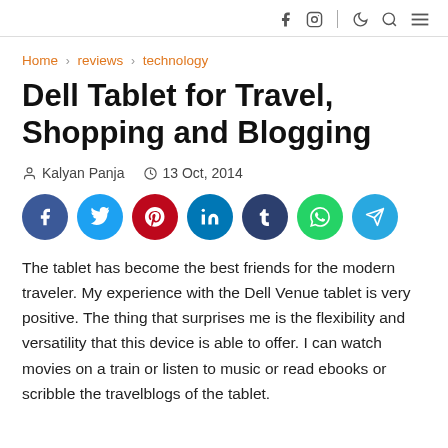f  ☾ 🔍 ≡
Home › reviews › technology
Dell Tablet for Travel, Shopping and Blogging
Kalyan Panja   13 Oct, 2014
[Figure (infographic): Social share buttons: Facebook, Twitter, Pinterest, LinkedIn, Tumblr, WhatsApp, Telegram]
The tablet has become the best friends for the modern traveler. My experience with the Dell Venue tablet is very positive. The thing that surprises me is the flexibility and versatility that this device is able to offer. I can watch movies on a train or listen to music or read ebooks or scribble the travelblogs of the tablet.